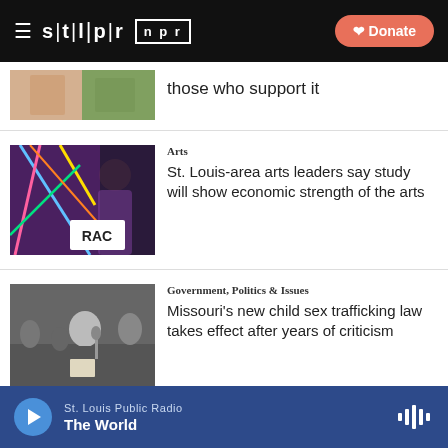stl|pr  npr  Donate
those who support it
[Figure (photo): Woman speaking at a podium with RAC sign, colorful abstract art in background]
Arts
St. Louis-area arts leaders say study will show economic strength of the arts
[Figure (photo): Man in suit speaking at a microphone at a podium in a legislative chamber]
Government, Politics & Issues
Missouri's new child sex trafficking law takes effect after years of criticism
St. Louis Public Radio  The World